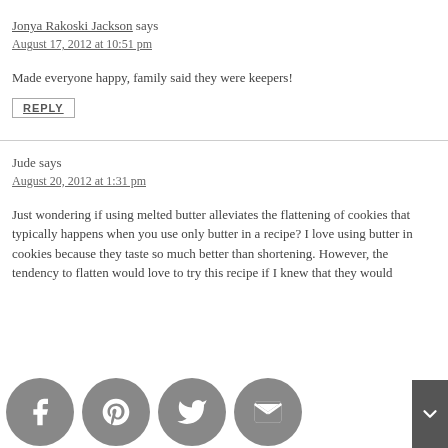Jonya Rakoski Jackson says
August 17, 2012 at 10:51 pm
Made everyone happy, family said they were keepers!
REPLY
Jude says
August 20, 2012 at 1:31 pm
Just wondering if using melted butter alleviates the flattening of cookies that typically happens when you use only butter in a recipe? I love using butter in cookies because they taste so much better than shortening. However, the tendency to flatten would love to try this recipe if I knew that they would